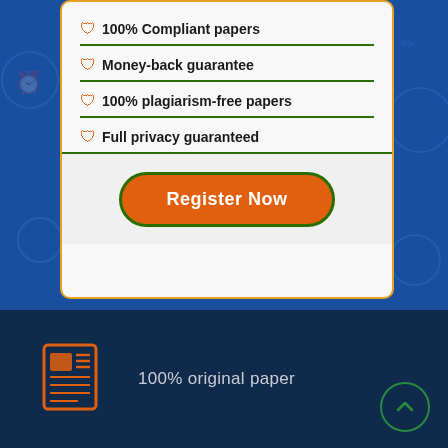100% Compliant papers
Money-back guarantee
100% plagiarism-free papers
Full privacy guaranteed
Register Now
[Figure (illustration): Orange newspaper/document icon]
100% original paper